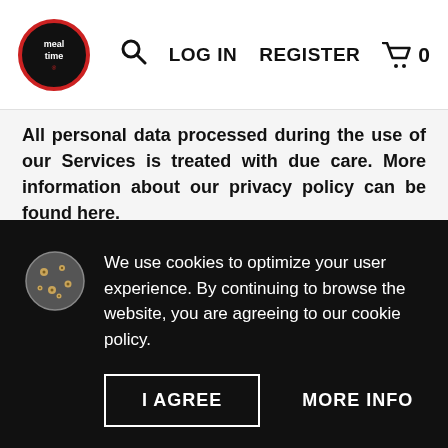meal time [logo] | Search | LOG IN | REGISTER | Cart 0
All personal data processed during the use of our Services is treated with due care. More information about our privacy policy can be found here.
We use cookies to improve your browsing experience. More information about our cookie policy can be found here.
General conditions Registered merchants
We use cookies to optimize your user experience. By continuing to browse the website, you are agreeing to our cookie policy.